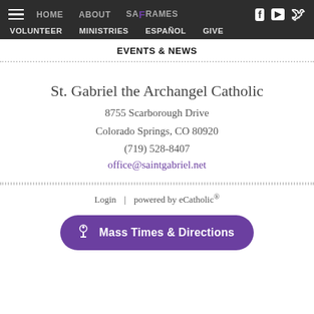HOME   ABOUT   SACRAMENTS   [hamburger] [Facebook] [YouTube] [icon]
VOLUNTEER   MINISTRIES   ESPAÑOL   GIVE
EVENTS & NEWS
St. Gabriel the Archangel Catholic
8755 Scarborough Drive
Colorado Springs, CO 80920
(719) 528-8407
office@saintgabriel.net
Login | powered by eCatholic®
Mass Times & Directions